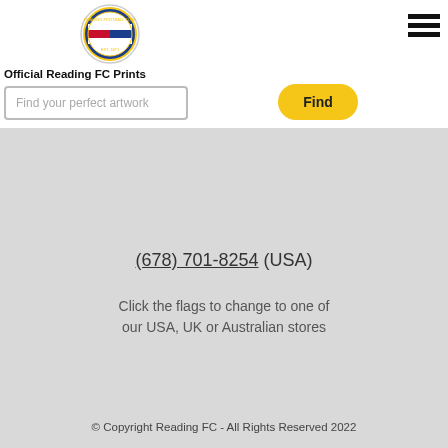[Figure (logo): Reading FC circular football club crest/badge logo]
Official Reading FC Prints
[Figure (other): Hamburger menu icon (three horizontal lines)]
Find your perfect artwork
Find
(678) 701-8254 (USA)
Click the flags to change to one of our USA, UK or Australian stores
© Copyright Reading FC - All Rights Reserved 2022